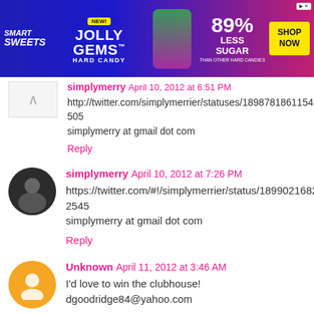[Figure (other): Smart Sweets Jolly Gems Hard Candy advertisement banner. Blue/pink background. Text: NEW! JOLLY GEMS HARD CANDY, 89% LESS SUGAR THAN OTHER HARD CANDIES, SHOP NOW button.]
simplymerry April 10, 2012 at 6:51 PM
http://twitter.com/simplymerrier/statuses/189878186115477505
simplymerry at gmail dot com
Reply
simplymerry April 10, 2012 at 7:26 PM
https://twitter.com/#!/simplymerrier/status/189902168248172545
simplymerry at gmail dot com
Reply
Unknown April 11, 2012 at 3:46 AM
I'd love to win the clubhouse!
dgoodridge84@yahoo.com